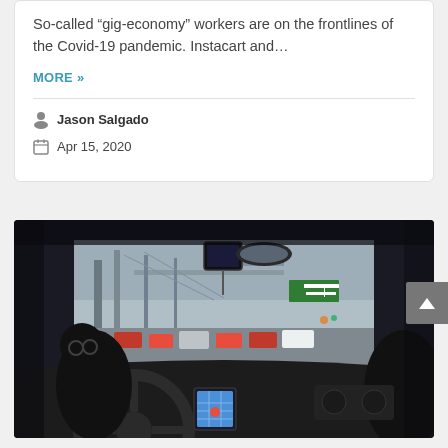So-called “gig-economy” workers are on the frontlines of the Covid-19 pandemic. Instacart and…
MORE »
Jason Salgado
Apr 15, 2020
[Figure (photo): Interior view from driver's seat of a car in traffic, with a phone mounted on the dashboard showing a map, and a tablet/device mounted near the rearview mirror. City bridge and traffic visible through the windshield.]